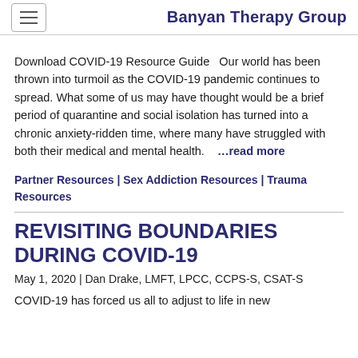Banyan Therapy Group
Download COVID-19 Resource Guide   Our world has been thrown into turmoil as the COVID-19 pandemic continues to spread. What some of us may have thought would be a brief period of quarantine and social isolation has turned into a chronic anxiety-ridden time, where many have struggled with both their medical and mental health.    …read more
Partner Resources | Sex Addiction Resources | Trauma Resources
REVISITING BOUNDARIES DURING COVID-19
May 1, 2020 | Dan Drake, LMFT, LPCC, CCPS-S, CSAT-S
COVID-19 has forced us all to adjust to life in new